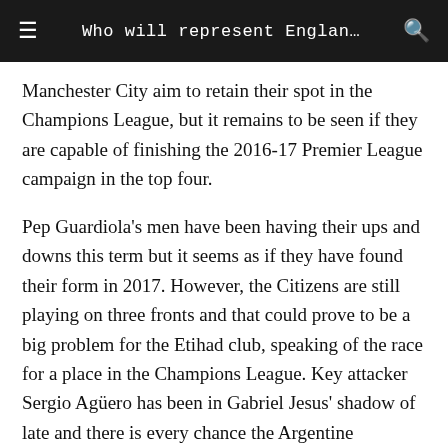Who will represent Englan…
Manchester City aim to retain their spot in the Champions League, but it remains to be seen if they are capable of finishing the 2016-17 Premier League campaign in the top four.
Pep Guardiola's men have been having their ups and downs this term but it seems as if they have found their form in 2017. However, the Citizens are still playing on three fronts and that could prove to be a big problem for the Etihad club, speaking of the race for a place in the Champions League. Key attacker Sergio Agüero has been in Gabriel Jesus' shadow of late and there is every chance the Argentine superstar will leave the club in the summer transfer window.